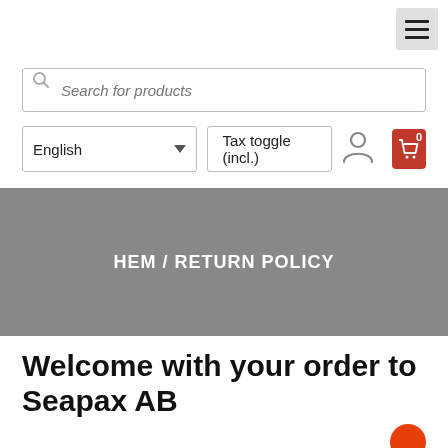[Figure (screenshot): Hamburger menu icon (three horizontal lines) on light grey background in top-right corner]
[Figure (screenshot): Search bar with magnifier icon and placeholder text 'Search for products']
[Figure (screenshot): Language selector showing 'English' with dropdown arrow, Tax toggle button showing 'Tax toggle (incl.)', user icon, and red cart icon with badge '0']
HEM / RETURN POLICY
Welcome with your order to Seapax AB